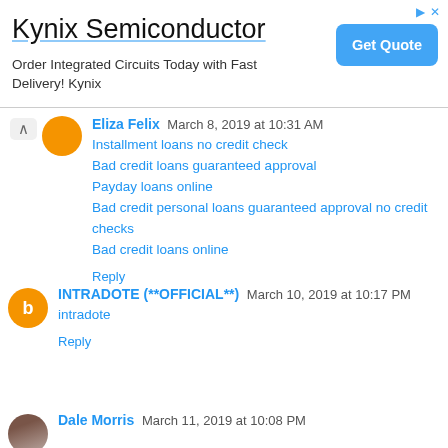[Figure (screenshot): Advertisement banner for Kynix Semiconductor with 'Get Quote' button. Text: 'Order Integrated Circuits Today with Fast Delivery! Kynix']
Eliza Felix  March 8, 2019 at 10:31 AM
Installment loans no credit check
Bad credit loans guaranteed approval
Payday loans online
Bad credit personal loans guaranteed approval no credit checks
Bad credit loans online
Reply
INTRADOTE (**OFFICIAL**)  March 10, 2019 at 10:17 PM
intradote
Reply
Dale Morris  March 11, 2019 at 10:08 PM